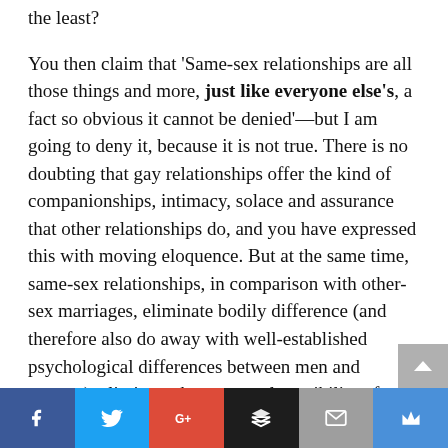the least?
You then claim that 'Same-sex relationships are all those things and more, just like everyone else's, a fact so obvious it cannot be denied'—but I am going to deny it, because it is not true. There is no doubting that gay relationships offer the kind of companionships, intimacy, solace and assurance that other relationships do, and you have expressed this with moving eloquence. But at the same time, same-sex relationships, in comparison with other-sex marriages, eliminate bodily difference (and therefore also do away with well-established psychological differences between men and women), eliminate the structural possibility of procreation, and fundamentally
Social share bar: Facebook, Twitter, Google+, Buffer, Email, Crown